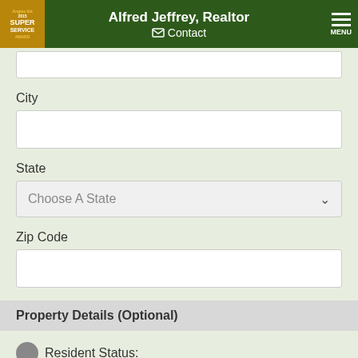Alfred Jeffrey, Realtor | Contact | MENU
City
State
Choose A State
Zip Code
Property Details (Optional)
Resident Status:
Choose One